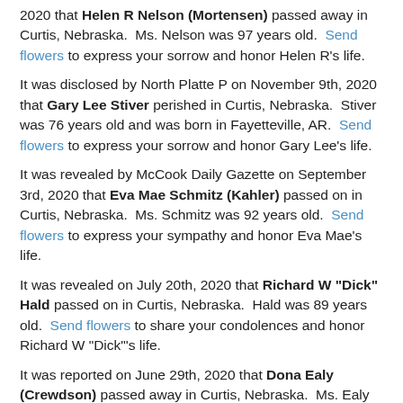2020 that Helen R Nelson (Mortensen) passed away in Curtis, Nebraska. Ms. Nelson was 97 years old. Send flowers to express your sorrow and honor Helen R's life.
It was disclosed by North Platte P on November 9th, 2020 that Gary Lee Stiver perished in Curtis, Nebraska. Stiver was 76 years old and was born in Fayetteville, AR. Send flowers to express your sorrow and honor Gary Lee's life.
It was revealed by McCook Daily Gazette on September 3rd, 2020 that Eva Mae Schmitz (Kahler) passed on in Curtis, Nebraska. Ms. Schmitz was 92 years old. Send flowers to express your sympathy and honor Eva Mae's life.
It was revealed on July 20th, 2020 that Richard W "Dick" Hald passed on in Curtis, Nebraska. Hald was 89 years old. Send flowers to share your condolences and honor Richard W "Dick"'s life.
It was reported on June 29th, 2020 that Dona Ealy (Crewdson) passed away in Curtis, Nebraska. Ms. Ealy was 91 years old. Send flowers to express your sympathy and honor Dona's life.